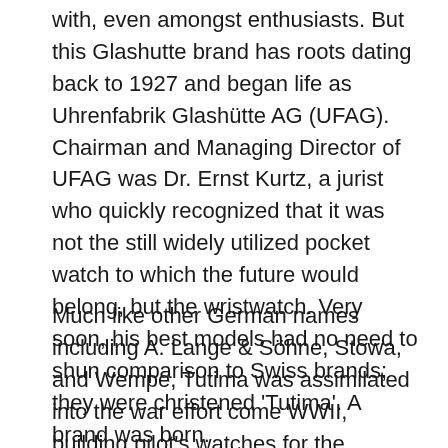with, even amongst enthusiasts. But this Glashutte brand has roots dating back to 1927 and began life as Uhrenfabrik Glashütte AG (UFAG). Chairman and Managing Director of UFAG was Dr. Ernst Kurtz, a jurist who quickly recognized that it was not the still widely utilized pocket watch to which the future would belong, but the wristwatch. Very soon, his best models had no need to shun comparison to Swiss brands; they were christened 'Tutima'. A brand was born.
Much like other German names including A. Lange & Söhne, Stowa, and Wempe, Tutima was assimilated into the war effort come WWII, building pilot's watches for the Luftwaffe. Hours before the official end of the war, Glashütte became the